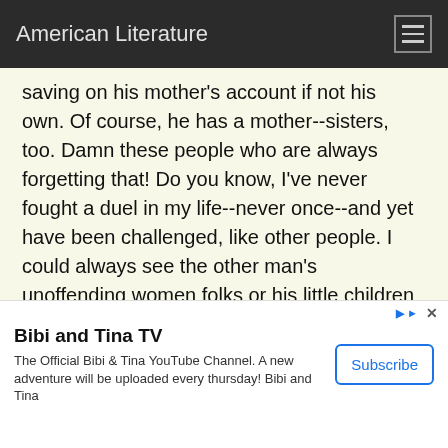American Literature
saving on his mother's account if not his own. Of course, he has a mother--sisters, too. Damn these people who are always forgetting that! Do you know, I've never fought a duel in my life--never once--and yet have been challenged, like other people. I could always see the other man's unoffending women folks or his little children standing between him and me. They hadn't done anything--I couldn't break their hearts, you know.'
orrected a good many little abuses in the